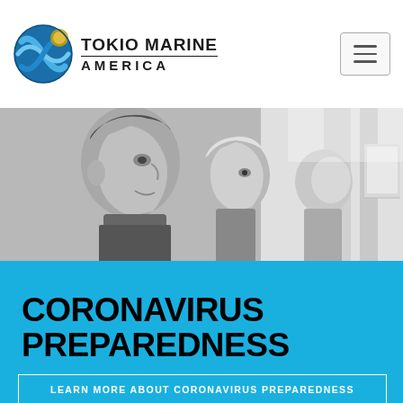[Figure (logo): Tokio Marine America globe logo with blue swirl and gold accent]
TOKIO MARINE
AMERICA
[Figure (photo): Grayscale photo of three people looking at a screen, business setting]
CORONAVIRUS PREPAREDNESS
LEARN MORE ABOUT CORONAVIRUS PREPAREDNESS